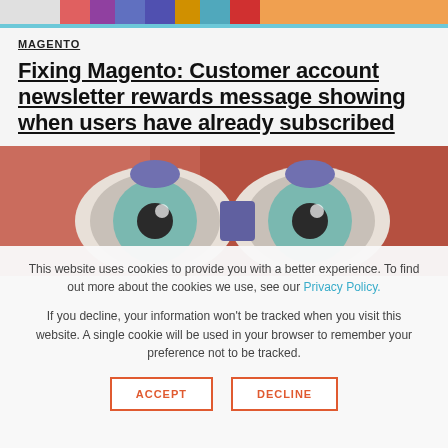[Figure (photo): Top banner with colorful stripes/gradient pattern]
MAGENTO
Fixing Magento: Customer account newsletter rewards message showing when users have already subscribed
[Figure (photo): Photo of toy eyeballs/googly eyes on a pink/mauve background]
This website uses cookies to provide you with a better experience. To find out more about the cookies we use, see our Privacy Policy.
If you decline, your information won't be tracked when you visit this website. A single cookie will be used in your browser to remember your preference not to be tracked.